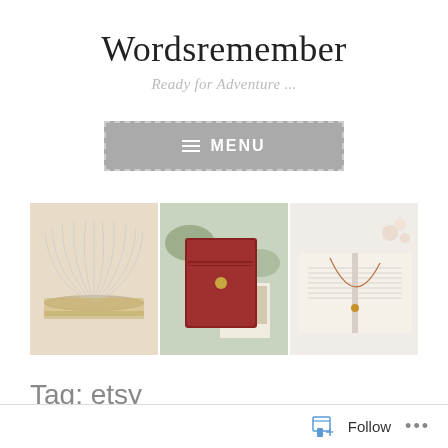Wordsremember
Ready for Adventure ...
[Figure (other): Grey menu button with dashed border, hamburger icon and MENU text]
[Figure (photo): Three horizontal photos showing books: an open book fanned out, a red leather journal, and hands holding an open Bible with a necklace]
Tag: etsy
Follow ...